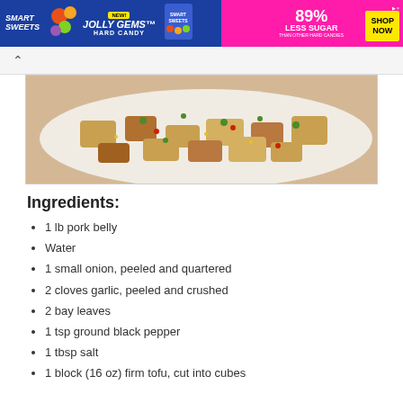[Figure (photo): Advertisement banner for Smart Sweets Jolly Gems Hard Candy - blue and pink background, 89% less sugar than other hard candies, Shop Now button]
[Figure (photo): A plate of cooked pork belly and tofu dish with green onions, red peppers, and various toppings on a white plate]
Ingredients:
1 lb pork belly
Water
1 small onion, peeled and quartered
2 cloves garlic, peeled and crushed
2 bay leaves
1 tsp ground black pepper
1 tbsp salt
1 block (16 oz) firm tofu, cut into cubes